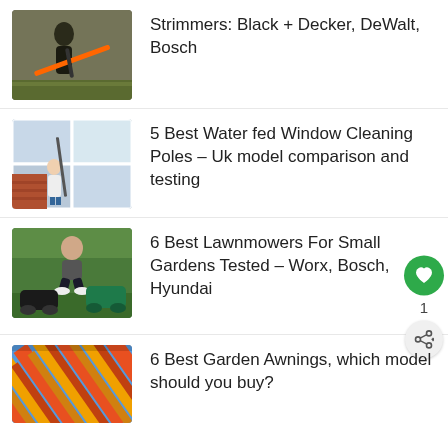Strimmers: Black + Decker, DeWalt, Bosch
5 Best Water fed Window Cleaning Poles – Uk model comparison and testing
6 Best Lawnmowers For Small Gardens Tested – Worx, Bosch, Hyundai
6 Best Garden Awnings, which model should you buy?